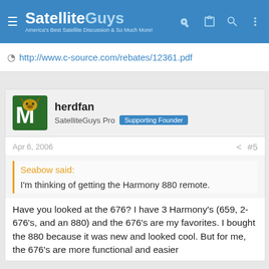SatelliteGuys — America's Best Satellite Discussion & So Much More!
http://www.c-source.com/rebates/12361.pdf
herdfan
SatelliteGuys Pro  Supporting Founder
Apr 6, 2006  #5
Seabow said:
I'm thinking of getting the Harmony 880 remote.
Have you looked at the 676? I have 3 Harmony's (659, 2-676's, and an 880) and the 676's are my favorites. I bought the 880 because it was new and looked cool. But for me, the 676's are more functional and easier